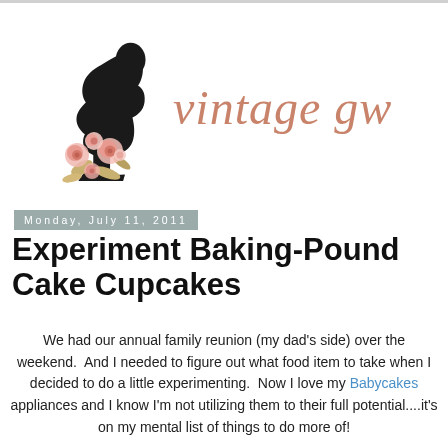[Figure (logo): Vintage Gwen blog logo: black silhouette of woman's head in profile facing left with pink roses cluster at bottom, and cursive script 'vintage gwen' in salmon/rose color to the right]
Monday, July 11, 2011
Experiment Baking-Pound Cake Cupcakes
We had our annual family reunion (my dad's side) over the weekend.  And I needed to figure out what food item to take when I decided to do a little experimenting.  Now I love my Babycakes appliances and I know I'm not utilizing them to their full potential....it's on my mental list of things to do more of!